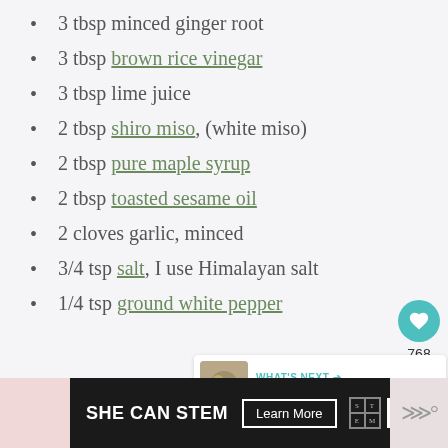3 tbsp minced ginger root
3 tbsp brown rice vinegar
3 tbsp lime juice
2 tbsp shiro miso, (white miso)
2 tbsp pure maple syrup
2 tbsp toasted sesame oil
2 cloves garlic, minced
3/4 tsp salt, I use Himalayan salt
1/4 tsp ground white pepper
768
[Figure (infographic): What's Next panel with thumbnail image for Warm Peanut Thai Noodle recipe]
[Figure (infographic): SHE CAN STEM advertisement banner with Learn More button and ad council logo]